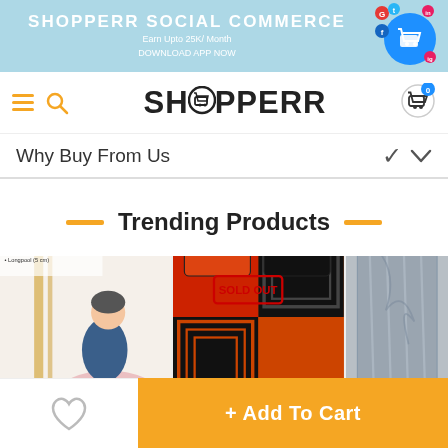SHOPPERR SOCIAL COMMERCE
Earn Upto 25K/ Month
DOWNLOAD APP NOW
[Figure (logo): Shopperr logo with shopping cart icon in blue circle with social media icons around it]
SHOPPERR
Why Buy From Us
Trending Products
[Figure (photo): Woman sitting on exercise ball wearing blue dress, with product text overlay]
[Figure (photo): Orange and black geometric patterned bedsheet set with SOLD OUT stamp]
[Figure (photo): Partial view of grey/silver fabric or product]